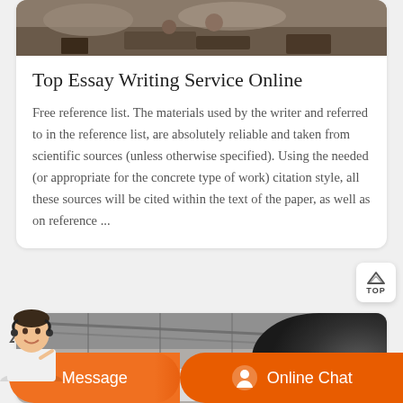[Figure (photo): Construction site photo showing workers and debris, partially cropped at top]
Top Essay Writing Service Online
Free reference list. The materials used by the writer and referred to in the reference list, are absolutely reliable and taken from scientific sources (unless otherwise specified). Using the needed (or appropriate for the concrete type of work) citation style, all these sources will be cited within the text of the paper, as well as on reference ...
[Figure (photo): Industrial machinery photo showing large gear and cylindrical equipment inside a warehouse]
Message
Online Chat